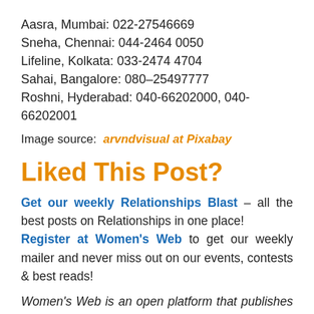Aasra, Mumbai: 022-27546669
Sneha, Chennai: 044-2464 0050
Lifeline, Kolkata: 033-2474 4704
Sahai, Bangalore: 080–25497777
Roshni, Hyderabad: 040-66202000, 040-66202001
Image source: arvndvisual at Pixabay
Liked This Post?
Get our weekly Relationships Blast – all the best posts on Relationships in one place! Register at Women's Web to get our weekly mailer and never miss out on our events, contests & best reads!
Women's Web is an open platform that publishes a diversity of views. Individual posts do not necessarily represent the platform's